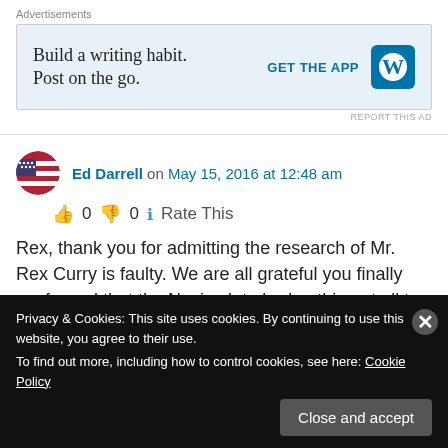Advertisements
[Figure (infographic): WordPress advertisement: 'Build a writing habit. Post on the go.' with GET THE APP button and WordPress logo]
REPORT THIS AD
Ed Darrell on May 15, 2016 at 12:48 am
👍 0 👎 0 🔵 Rate This
Rex, thank you for admitting the research of Mr. Rex Curry is faulty. We are all grateful you finally confessed that the Nazi salute had nothing at all to do with Francis Bellamy nor the U.S. Pledge
Privacy & Cookies: This site uses cookies. By continuing to use this website, you agree to their use. To find out more, including how to control cookies, see here: Cookie Policy
Close and accept